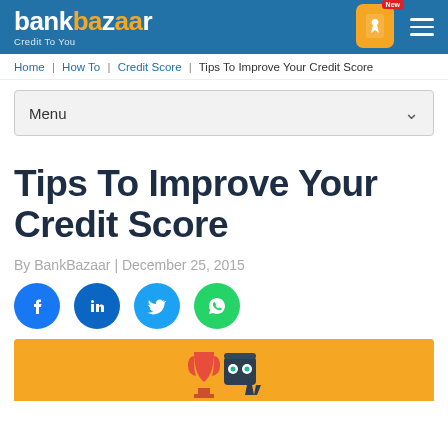bankbazaar — Credit To You
Home | How To | Credit Score | Tips To Improve Your Credit Score
Menu
Tips To Improve Your Credit Score
By BankBazaar | December 25, 2015
[Figure (infographic): Social share buttons: Facebook, LinkedIn, Twitter, WhatsApp]
[Figure (illustration): Orange banner image with a trophy and character illustration at the bottom of the page]